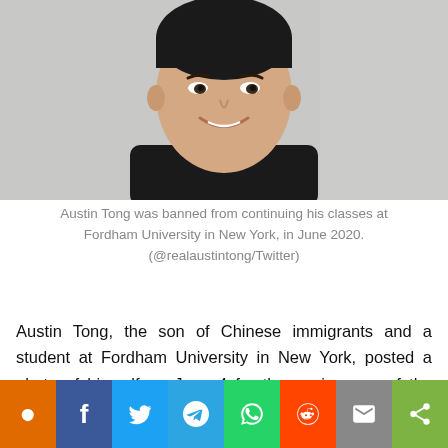[Figure (photo): Headshot of Austin Tong, a young Asian man smiling, wearing a black shirt, photographed against a light gray background.]
Austin Tong was banned from continuing his classes at Fordham University in New York, in June 2020. (@realaustintong/Twitter)
Austin Tong, the son of Chinese immigrants and a student at Fordham University in New York, posted a photo of himself on June 4 for the anniversary of the Tiananmen Square massacre on Instagram. In the photo he is holding a rifle and the caption reads, “Don’t tread on me,” a phrase that refers to the American Revolution and the idea of defending oneself from a tyrannical gov[ernment, which has become a] a mo[vement symbol...] ere